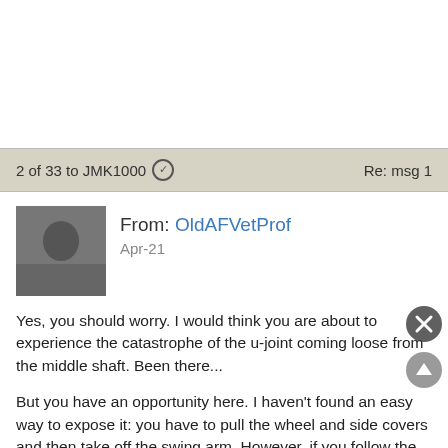2 of 33 to JMK1000 ✓   Re: msg 1
[Figure (photo): Black and white profile photo of a person, presumably OldAFVetProf]
From: OldAFVetProf
Apr-21
Yes, you should worry. I would think you are about to experience the catastrophe of the u-joint coming loose from the middle shaft. Been there...
But you have an opportunity here. I haven't found an easy  way to expose it: you have to pull the wheel and side covers and then take off the swing arm. However, if you follow the maintenance instructions explicitly, it isn't as bad as you fear. Once you do that, you will be able to see where the u-joint is splined on to the drive shaft with a washer and nut holding it on. If it hasn't come